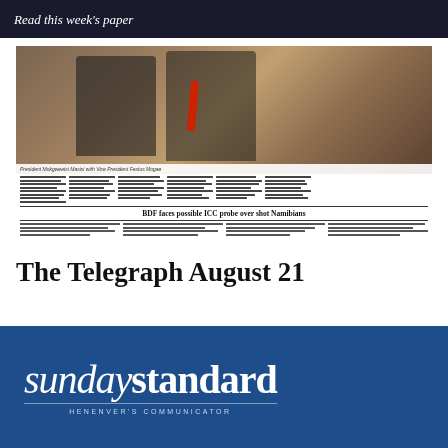Read this week's paper
[Figure (photo): Newspaper front page preview showing a photo of two men in suits (President Mokgweetsi Masisi with President Festus Mogae) seated, with newspaper articles. Headline visible: 'BDF faces possible ICC probe over shot Namibians']
The Telegraph August 21
[Figure (logo): Sunday Standard newspaper logo in white text on blue background with tagline 'HENENVER'S COMMUNICATOR']